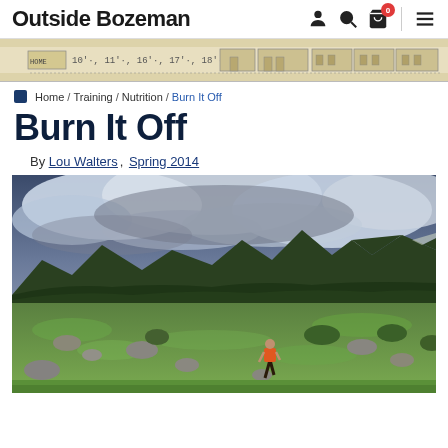Outside Bozeman
[Figure (photo): Vintage architectural illustration banner strip showing building facades with measurement notations]
Home / Training / Nutrition / Burn It Off
Burn It Off
By Lou Walters, Spring 2014
[Figure (photo): Trail runner in orange shirt running through a green alpine meadow with rocky terrain, forested mountains and dramatic cloudy sky in the background]